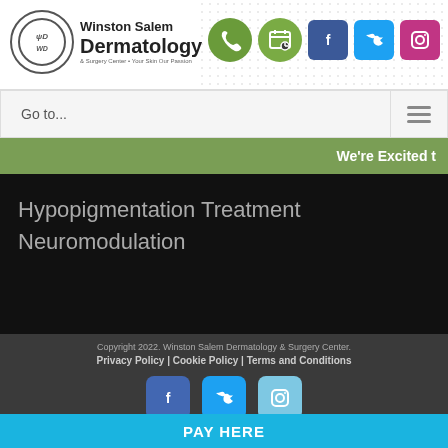[Figure (logo): Winston Salem Dermatology & Surgery Center logo with circular WD emblem]
[Figure (infographic): Header icons: phone, calendar, Facebook, Twitter, Instagram social icons]
Go to...
[Figure (infographic): Navigation hamburger menu icon]
We're Excited t
Hypopigmentation Treatment
Neuromodulation
Copyright 2022. Winston Salem Dermatology & Surgery Center.
Privacy Policy | Cookie Policy | Terms and Conditions
[Figure (infographic): Footer social icons: Facebook, Twitter, Instagram]
PAY HERE